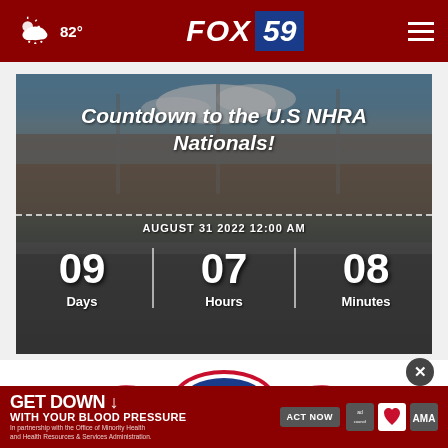FOX 59 — 82° — Navigation menu
[Figure (screenshot): Countdown to the U.S NHRA Nationals! — showing a racetrack with packed grandstands. Countdown timer shows AUGUST 31 2022 12:00 AM — 09 Days | 07 Hours | 08 Minutes]
[Figure (logo): NHRA logo with patriotic wing design]
[Figure (infographic): Advertisement banner: GET DOWN WITH YOUR BLOOD PRESSURE — ACT NOW — In partnership with the Office of Minority Health and Health Resources & Services Administration. Logos: Ad Council, American Heart Association, AMA]